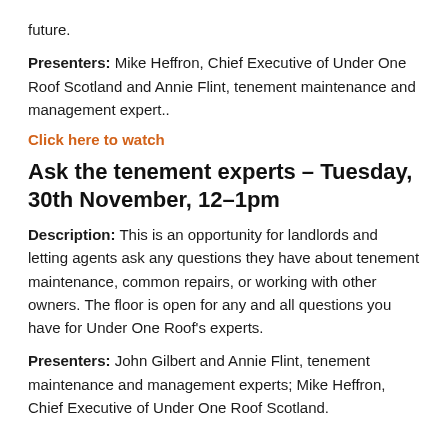future.
Presenters: Mike Heffron, Chief Executive of Under One Roof Scotland and Annie Flint, tenement maintenance and management expert..
Click here to watch
Ask the tenement experts – Tuesday, 30th November, 12–1pm
Description: This is an opportunity for landlords and letting agents ask any questions they have about tenement maintenance, common repairs, or working with other owners. The floor is open for any and all questions you have for Under One Roof's experts.
Presenters: John Gilbert and Annie Flint, tenement maintenance and management experts; Mike Heffron, Chief Executive of Under One Roof Scotland.